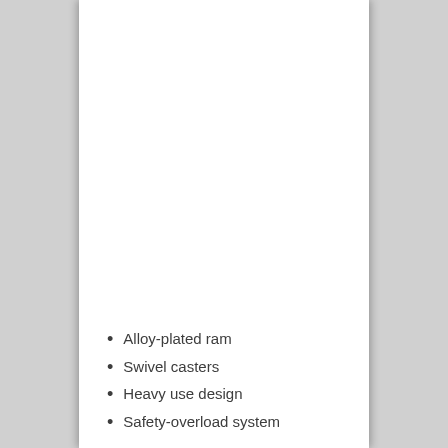Alloy-plated ram
Swivel casters
Heavy use design
Safety-overload system